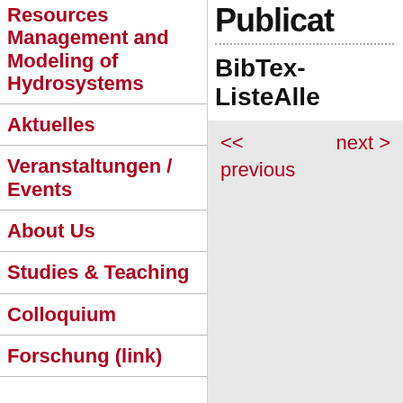Resources Management and Modeling of Hydrosystems
Aktuelles
Veranstaltungen / Events
About Us
Studies & Teaching
Colloquium
Forschung (link)
Publicat
BibTex-ListeAlle
<< next > previous